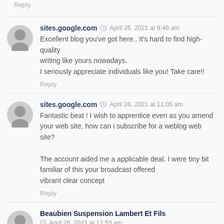Reply
sites.google.com  April 26, 2021 at 9:46 am
Excellent blog you've got here.. It's hard to find high-quality writing like yours nowadays.
I seriously appreciate individuals like you! Take care!!
Reply
sites.google.com  April 26, 2021 at 11:05 am
Fantastic beat ! I wish to apprentice even as you amend your web site, how can i subscribe for a weblog web site?
The account aided me a applicable deal. I were tiny bit familiar of this your broadcast offered vibrant clear concept
Reply
Beaubien Suspension Lambert Et Fils  April 26, 2021 at 11:53 am
Hello, There's no doubt that your web site could be having internet browser compatibility issues. Whenever I take a look at your site in Safari, it